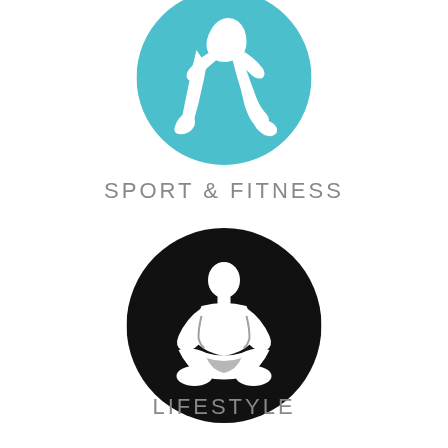[Figure (illustration): Teal/turquoise circle with white silhouette of running legs (partial figure, cropped at top)]
SPORT & FITNESS
[Figure (illustration): Black circle with white silhouette of person sitting in lotus/meditation pose]
LIFESTYLE